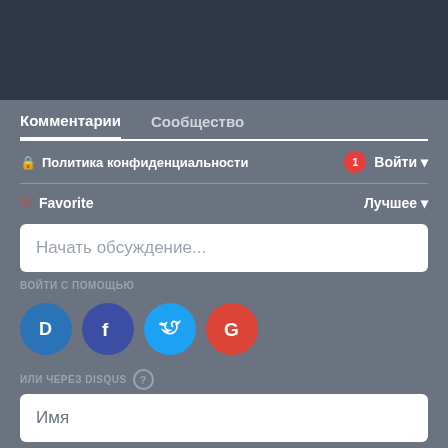[Figure (screenshot): Dark header bar at top of page]
Комментарии   Сообщество
🔒 Политика конфиденциальности
1  Войти ▾
♡ Favorite
Лучшее ▾
Начать обсуждение...
ВОЙТИ С ПОМОЩЬЮ
[Figure (illustration): Social login icons: Disqus (D), Facebook (f), Twitter bird, Google (G)]
ИЛИ ЧЕРЕЗ DISQUS ?
Имя